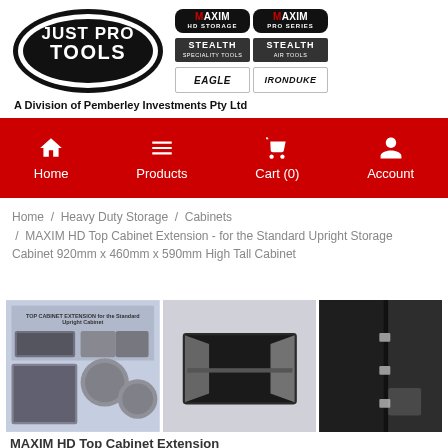Just Pro Tools — A Division of Pemberley Investments Pty Ltd
[Figure (logo): Just Pro Tools logo with brand logos: MAXIM HD STORAGE, MAXIM PRO SERIES, STEALTH SPECIALTY TOOLS, STEALTH AIR TOOLS, EAGLE, IRONDUKE]
[Figure (infographic): Navigation bar with Home, Products, Cart (0), Account icons on red background]
Home / Heavy Duty Storage / Cabinets / MAXIM HD Top Cabinet Extension - for the Standard Upright Storage Cabinet 920mm x 460mm x 590mm High Tall Cabinet
[Figure (photo): Three product images of MAXIM HD Top Cabinet Extension showing the cabinet from different angles]
MAXIM HD Top Cabinet Extension